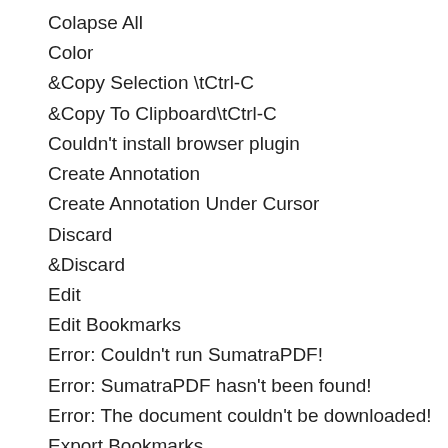Colapse All
Color
&Copy Selection \tCtrl-C
&Copy To Clipboard\tCtrl-C
Couldn't install browser plugin
Create Annotation
Create Annotation Under Cursor
Discard
&Discard
Edit
Edit Bookmarks
Error: Couldn't run SumatraPDF!
Error: SumatraPDF hasn't been found!
Error: The document couldn't be downloaded!
Export Bookmarks
F&ullscreen\tCtrl+L
Free Text
Hide &Favorites
Highlight
&Highlight\ta
&Highlight\ta